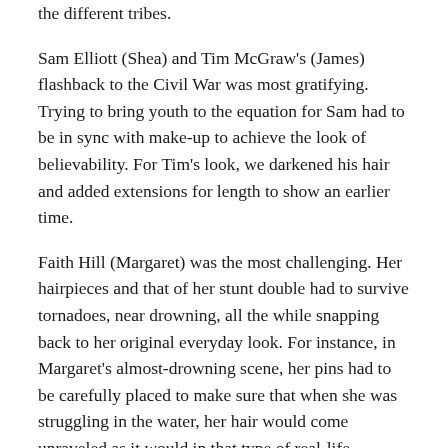the different tribes.
Sam Elliott (Shea) and Tim McGraw's (James) flashback to the Civil War was most gratifying. Trying to bring youth to the equation for Sam had to be in sync with make-up to achieve the look of believability. For Tim's look, we darkened his hair and added extensions for length to show an earlier time.
Faith Hill (Margaret) was the most challenging. Her hairpieces and that of her stunt double had to survive tornadoes, near drowning, all the while snapping back to her original everyday look. For instance, in Margaret's almost-drowning scene, her pins had to be carefully placed to make sure that when she was struggling in the water, her hair would come unraveled as it would in that type of real-life situation.
For Isabel May (Elsa), her hair was deliberately colored to read as she's described, “lightning with the yellow hair,” and had to be kept up weekly. In the beginning of her journey, she is much more put together with not a hair out of place. As the story and circumstances progress, she becomes more disheveled and her